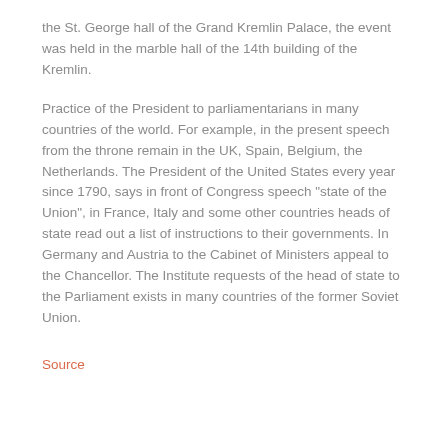the St. George hall of the Grand Kremlin Palace, the event was held in the marble hall of the 14th building of the Kremlin.
Practice of the President to parliamentarians in many countries of the world. For example, in the present speech from the throne remain in the UK, Spain, Belgium, the Netherlands. The President of the United States every year since 1790, says in front of Congress speech "state of the Union", in France, Italy and some other countries heads of state read out a list of instructions to their governments. In Germany and Austria to the Cabinet of Ministers appeal to the Chancellor. The Institute requests of the head of state to the Parliament exists in many countries of the former Soviet Union.
Source